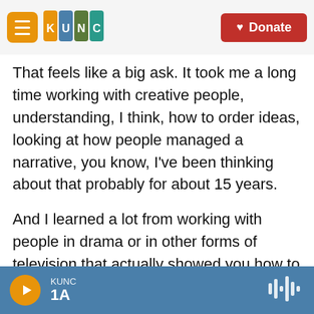KUNC | Donate
That feels like a big ask. It took me a long time working with creative people, understanding, I think, how to order ideas, looking at how people managed a narrative, you know, I've been thinking about that probably for about 15 years.
And I learned a lot from working with people in drama or in other forms of television that actually showed you how to tell a story — because I think storytelling at the end is what brings people to books, wherever they're set, whatever the genre they're in. I think, at the end, learning how to keep people engaged is the most important thing. And I
KUNC 1A